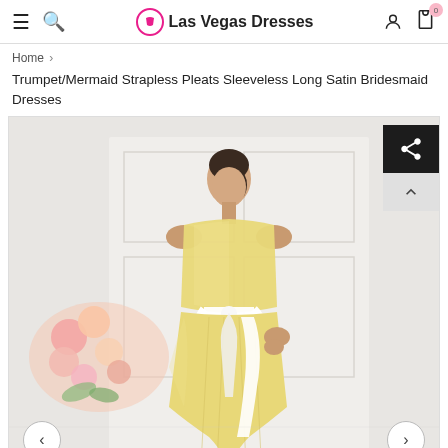Las Vegas Dresses
Home >
Trumpet/Mermaid Strapless Pleats Sleeveless Long Satin Bridesmaid Dresses
[Figure (photo): A woman wearing a yellow/gold strapless satin trumpet/mermaid bridesmaid dress with a white sash, standing in front of a white wall with pink flowers. Share button and scroll-to-top button overlaid on the photo.]